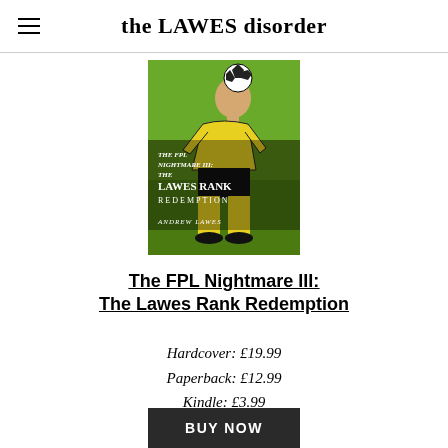the LAWES disorder
[Figure (illustration): Book cover for 'The FPL Nightmare III: The Lawes Rank Redemption' by Andrew Lawes. Shows a bald man in a yellow football kit heading a black and white football, with a green outdoor background. Cover text reads: The FPL Nightmare III: The Lawes Rank Redemption. Andrew Lawes.]
The FPL Nightmare III: The Lawes Rank Redemption
Hardcover: £19.99
Paperback: £12.99
Kindle: £3.99
BUY NOW